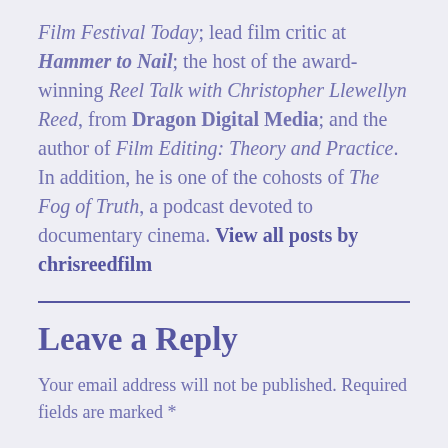Film Festival Today; lead film critic at Hammer to Nail; the host of the award-winning Reel Talk with Christopher Llewellyn Reed, from Dragon Digital Media; and the author of Film Editing: Theory and Practice. In addition, he is one of the cohosts of The Fog of Truth, a podcast devoted to documentary cinema. View all posts by chrisreedfilm
Leave a Reply
Your email address will not be published. Required fields are marked *